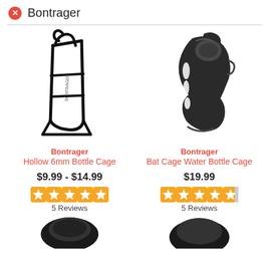Bontrager
[Figure (photo): Bontrager Hollow 6mm Bottle Cage - black aluminum wire bottle cage]
Bontrager
Hollow 6mm Bottle Cage
$9.99 - $14.99
5 Reviews
[Figure (photo): Bontrager Bat Cage Water Bottle Cage - black plastic side-entry bottle cage]
Bontrager
Bat Cage Water Bottle Cage
$19.99
5 Reviews